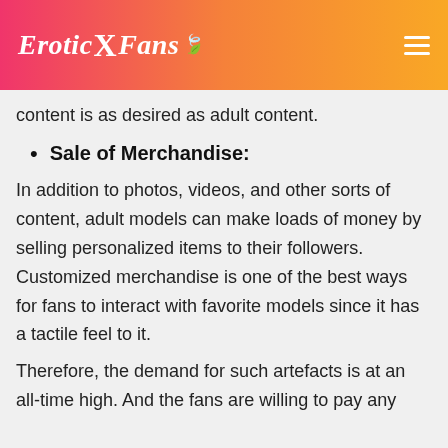EroticXFans
content is as desired as adult content.
Sale of Merchandise:
In addition to photos, videos, and other sorts of content, adult models can make loads of money by selling personalized items to their followers. Customized merchandise is one of the best ways for fans to interact with favorite models since it has a tactile feel to it.
Therefore, the demand for such artefacts is at an all-time high. And the fans are willing to pay any